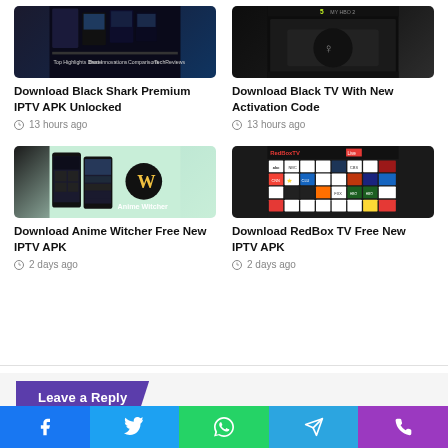[Figure (screenshot): Thumbnail image for Black Shark Premium IPTV APK article]
Download Black Shark Premium IPTV APK Unlocked
13 hours ago
[Figure (screenshot): Thumbnail image for Black TV With New Activation Code article]
Download Black TV With New Activation Code
13 hours ago
[Figure (screenshot): Anime Witcher app screenshots on phone with logo]
Download Anime Witcher Free New IPTV APK
2 days ago
[Figure (screenshot): RedBox TV channel grid screenshot]
Download RedBox TV Free New IPTV APK
2 days ago
Leave a Reply
Facebook Twitter WhatsApp Telegram Phone